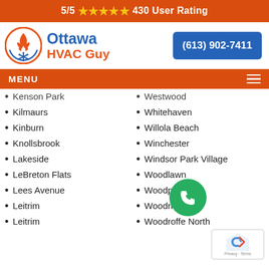5/5 ★★★★★ 430 User Rating
[Figure (logo): Ottawa HVAC Guy logo with flame and snowflake in orange circle, beside text 'Ottawa HVAC Guy']
(613) 902-7411
MENU
Kenson Park
Westwood
Kilmaurs
Whitehaven
Kinburn
Willola Beach
Knollsbrook
Winchester
Lakeside
Windsor Park Village
LeBreton Flats
Woodlawn
Lees Avenue
Woodpa...
Leitrim
Woodridge
Leitrim
Woodroffe North